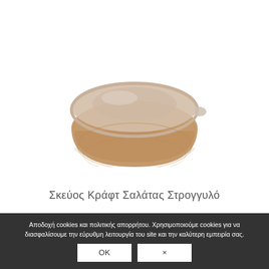[Figure (photo): A round kraft paper salad container with a transparent plastic lid, photographed on a white background.]
Σκεύος Κράφτ Σαλάτας Στρογγυλό
Αποδοχή cookies και πολιτικής απορρήτου. Χρησιμοποιούμε cookies για να διασφαλίσουμε την εύρυθμη λειτουργία του site και την καλύτερη εμπειρία σας.
OK
×